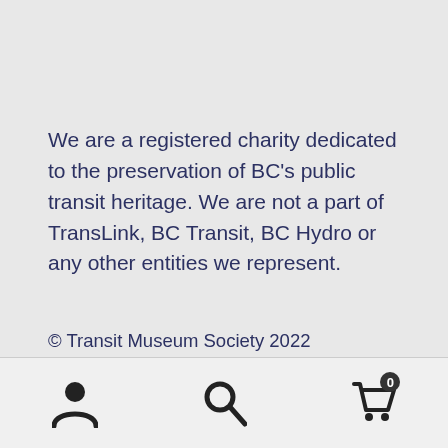We are a registered charity dedicated to the preservation of BC's public transit heritage. We are not a part of TransLink, BC Transit, BC Hydro or any other entities we represent.
© Transit Museum Society 2022
Privacy & Code of Conduct | Built with Storefront & WooCommerce.
[Figure (other): Bottom navigation bar with three icons: user/account icon, search icon, and shopping cart icon with a badge showing 0]